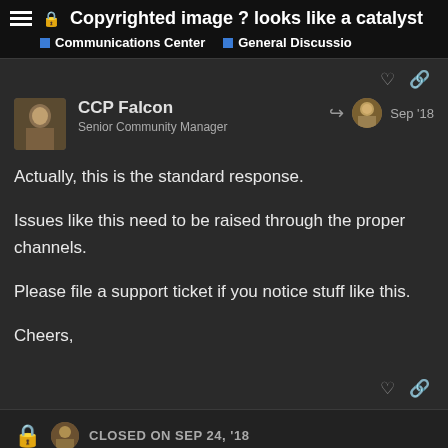Copyrighted image ? looks like a catalyst — Communications Center · General Discussio
Actually, this is the standard response.

Issues like this need to be raised through the proper channels.

Please file a support ticket if you notice stuff like this.

Cheers,
CCP Falcon
Senior Community Manager
Sep '18
CLOSED ON SEP 24, '18